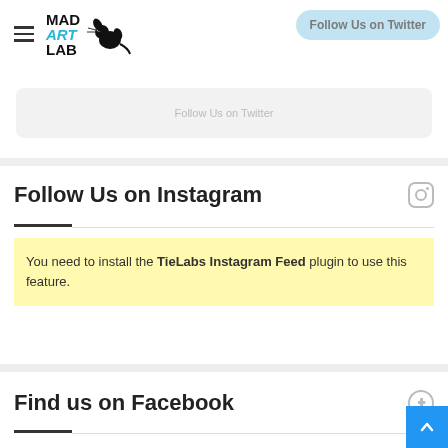Mad Art Lab
Follow Us on Instagram
You need to install the TieLabs Instagram Feed plugin to use this feature.
Find us on Facebook